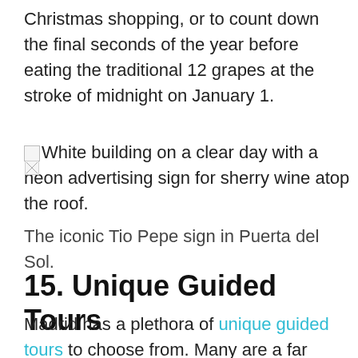Christmas shopping, or to count down the final seconds of the year before eating the traditional 12 grapes at the stroke of midnight on January 1.
[Figure (photo): Broken image placeholder with alt text: White building on a clear day with a neon advertising sign for sherry wine atop the roof.]
The iconic Tio Pepe sign in Puerta del Sol.
15. Unique Guided Tours
Madrid has a plethora of unique guided tours to choose from. Many are a far cry from the stuffy “official” tour usually led by a grey-haired woman holding a red umbrella, or the same-in-every-city open-topped red bus. In Madrid you can walk, bike, segway, eat, dance and drink your way